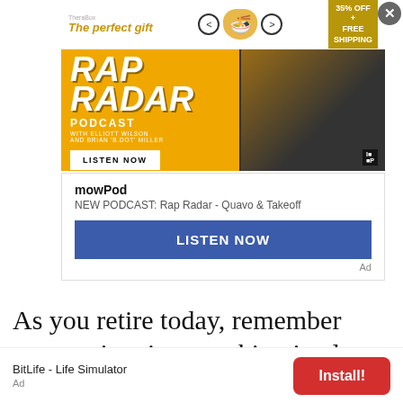[Figure (screenshot): Rap Radar Podcast advertisement banner on yellow background with two men and 'LISTEN NOW' button. Overlaid with a TheraBox gift ad at top showing 35% OFF + FREE SHIPPING.]
mowPod
NEW PODCAST: Rap Radar - Quavo & Takeoff
LISTEN NOW
Ad
As you retire today, remember your active time teaching in class may have stopped but your good teaching in this
BitLife - Life Simulator
Install!
Ad